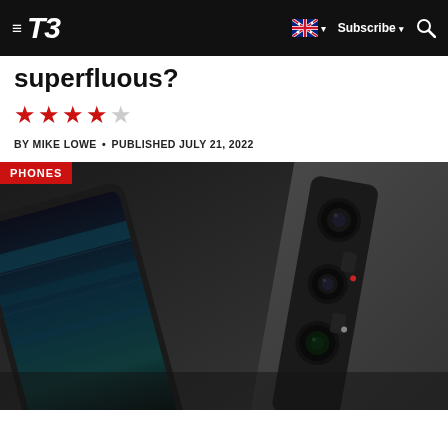T3 — Subscribe — Search — AU flag
superfluous?
★★★★☆
BY MIKE LOWE • PUBLISHED JULY 21, 2022
[Figure (photo): Sony Xperia smartphone shown from the back at an angle, with camera module visible, dark gray color, SONY branding on the back. The phone is displayed against a dark background with a second phone showing its screen with a teal/dark gradient display.]